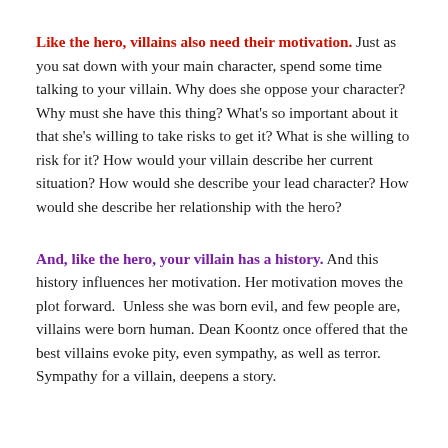Like the hero, villains also need their motivation. Just as you sat down with your main character, spend some time talking to your villain. Why does she oppose your character? Why must she have this thing? What's so important about it that she's willing to take risks to get it? What is she willing to risk for it? How would your villain describe her current situation? How would she describe your lead character? How would she describe her relationship with the hero?
And, like the hero, your villain has a history. And this history influences her motivation. Her motivation moves the plot forward.  Unless she was born evil, and few people are, villains were born human. Dean Koontz once offered that the best villains evoke pity, even sympathy, as well as terror. Sympathy for a villain, deepens a story.